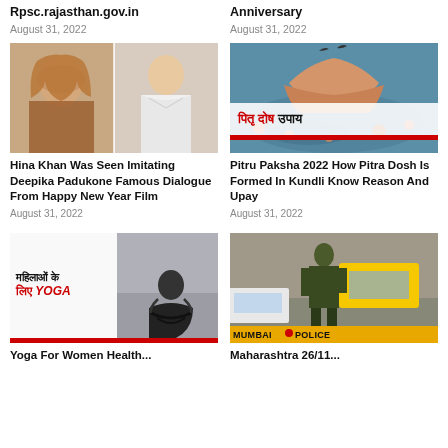Rpsc.rajasthan.gov.in
Anniversary
August 31, 2022
August 31, 2022
[Figure (photo): Two women posing - Hina Khan imitating Deepika Padukone]
[Figure (photo): Hands holding flower petals over water with Hindi text overlay: पितृ दोष उपाय]
Hina Khan Was Seen Imitating Deepika Padukone Famous Dialogue From Happy New Year Film
August 31, 2022
Pitru Paksha 2022 How Pitra Dosh Is Formed In Kundli Know Reason And Upay
August 31, 2022
[Figure (photo): Woman doing yoga with Hindi text overlay: महिलाओं के लिए YOGA]
[Figure (photo): Police officer standing near Mumbai Police vehicle on street]
Yoga For Women Health...
Maharashtra 26/11...